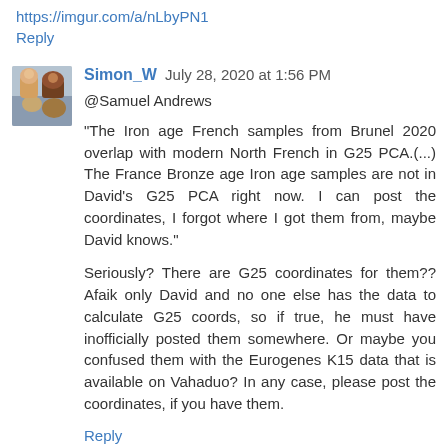https://imgur.com/a/nLbyPN1
Reply
Simon_W July 28, 2020 at 1:56 PM
@Samuel Andrews
"The Iron age French samples from Brunel 2020 overlap with modern North French in G25 PCA.(...) The France Bronze age Iron age samples are not in David's G25 PCA right now. I can post the coordinates, I forgot where I got them from, maybe David knows."
Seriously? There are G25 coordinates for them?? Afaik only David and no one else has the data to calculate G25 coords, so if true, he must have inofficially posted them somewhere. Or maybe you confused them with the Eurogenes K15 data that is available on Vahaduo? In any case, please post the coordinates, if you have them.
Reply